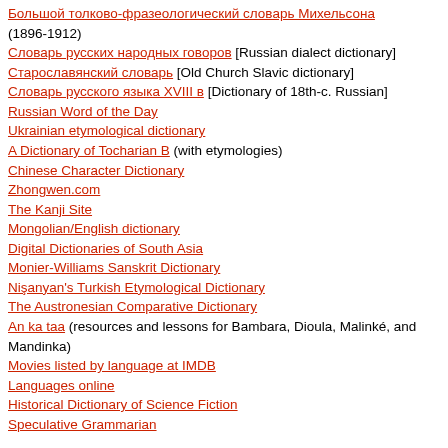Большой толково-фразеологический словарь Михельсона (1896-1912)
Словарь русских народных говоров [Russian dialect dictionary]
Старославянский словарь [Old Church Slavic dictionary]
Словарь русского языка XVIII в [Dictionary of 18th-c. Russian]
Russian Word of the Day
Ukrainian etymological dictionary
A Dictionary of Tocharian B (with etymologies)
Chinese Character Dictionary
Zhongwen.com
The Kanji Site
Mongolian/English dictionary
Digital Dictionaries of South Asia
Monier-Williams Sanskrit Dictionary
Nişanyan's Turkish Etymological Dictionary
The Austronesian Comparative Dictionary
An ka taa (resources and lessons for Bambara, Dioula, Malinké, and Mandinka)
Movies listed by language at IMDB
Languages online
Historical Dictionary of Science Fiction
Speculative Grammarian